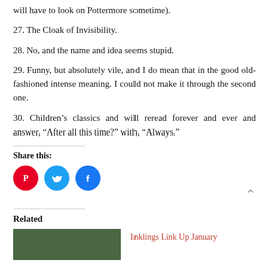will have to look on Pottermore sometime).
27. The Cloak of Invisibility.
28. No, and the name and idea seems stupid.
29. Funny, but absolutely vile, and I do mean that in the good old-fashioned intense meaning. I could not make it through the second one.
30. Children’s classics and will reread forever and ever and answer, “After all this time?” with, “Always.”
Share this:
[Figure (infographic): Three social share buttons: Pinterest (red circle with P icon), Twitter (light blue circle with bird icon), Facebook (dark blue circle with f icon)]
Related
[Figure (photo): Thumbnail image with dark green/teal book cover background]
Inklings Link Up January